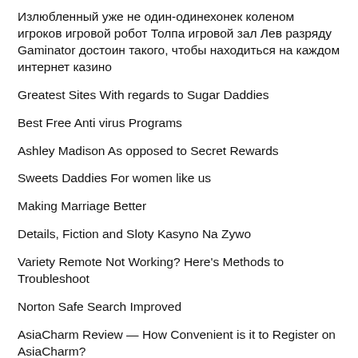Излюбленный уже не один-одинехонек коленом игроков игровой робот Толпа игровой зал Лев разряду Gaminator достоин такого, чтобы находиться на каждом интернет казино
Greatest Sites With regards to Sugar Daddies
Best Free Anti virus Programs
Ashley Madison As opposed to Secret Rewards
Sweets Daddies For women like us
Making Marriage Better
Details, Fiction and Sloty Kasyno Na Zywo
Variety Remote Not Working? Here's Methods to Troubleshoot
Norton Safe Search Improved
AsiaCharm Review — How Convenient is it to Register on AsiaCharm?